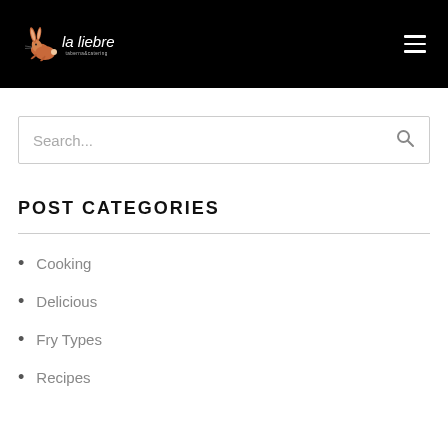[Figure (logo): La Liebre taberna&catering logo with rabbit illustration on black background]
Search...
POST CATEGORIES
Cooking
Delicious
Fry Types
Recipes